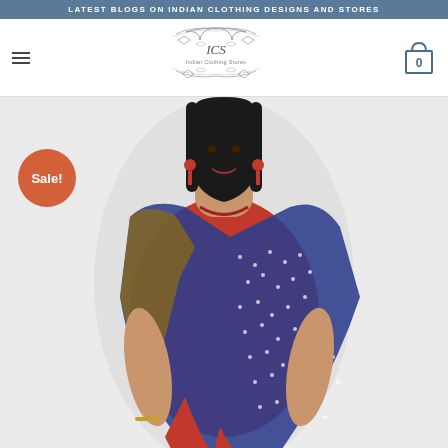LATEST BLOGS ON INDIAN CLOTHING DESIGNS AND STORES
[Figure (logo): ICS Indian Clothing Stores decorative logo with ornamental swirls]
[Figure (photo): Woman wearing a red and navy blue bandhani dupatta saree with gold border detail, Sale badge overlay]